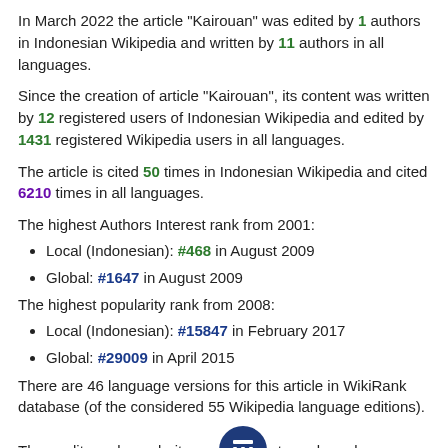In March 2022 the article "Kairouan" was edited by 1 authors in Indonesian Wikipedia and written by 11 authors in all languages.
Since the creation of article "Kairouan", its content was written by 12 registered users of Indonesian Wikipedia and edited by 1431 registered Wikipedia users in all languages.
The article is cited 50 times in Indonesian Wikipedia and cited 6210 times in all languages.
The highest Authors Interest rank from 2001:
Local (Indonesian): #468 in August 2009
Global: #1647 in August 2009
The highest popularity rank from 2008:
Local (Indonesian): #15847 in February 2017
Global: #29009 in April 2015
There are 46 language versions for this article in WikiRank database (of the considered 55 Wikipedia language editions).
The quality and popularity assessment was based on Wikipedia dumps from April 1, 2022 (including revision history and pageviews for previous years).